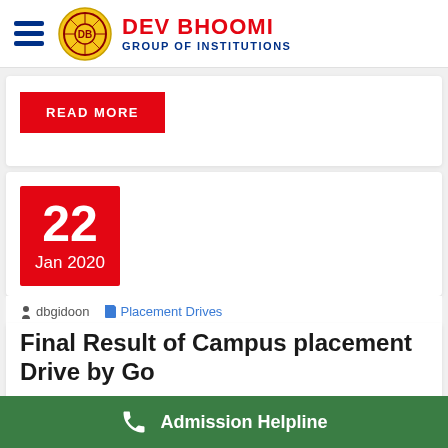[Figure (logo): Dev Bhoomi Group of Institutions logo with circular emblem and hamburger menu icon]
DEV BHOOMI GROUP OF INSTITUTIONS
READ MORE
22 Jan 2020
dbgidoon   Placement Drives
Final Result of Campus placement Drive by Go
Admission Helpline